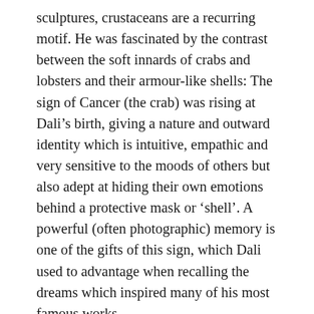sculptures, crustaceans are a recurring motif. He was fascinated by the contrast between the soft innards of crabs and lobsters and their armour-like shells: The sign of Cancer (the crab) was rising at Dali’s birth, giving a nature and outward identity which is intuitive, empathic and very sensitive to the moods of others but also adept at hiding their own emotions behind a protective mask or ‘shell’. A powerful (often photographic) memory is one of the gifts of this sign, which Dali used to advantage when recalling the dreams which inspired many of his most famous works.
The shyness usually associated with a Phlegmatic/Sanguine temperament is not